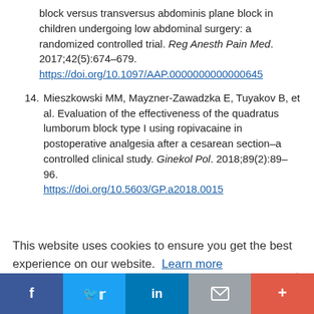block versus transversus abdominis plane block in children undergoing low abdominal surgery: a randomized controlled trial. Reg Anesth Pain Med. 2017;42(5):674–679. https://doi.org/10.1097/AAP.0000000000000645
14. Mieszkowski MM, Mayzner-Zawadzka E, Tuyakov B, et al. Evaluation of the effectiveness of the quadratus lumborum block type I using ropivacaine in postoperative analgesia after a cesarean section–a controlled clinical study. Ginekol Pol. 2018;89(2):89–96. https://doi.org/10.5603/GP.a2018.0015
This website uses cookies to ensure you get the best experience on our website. Learn more